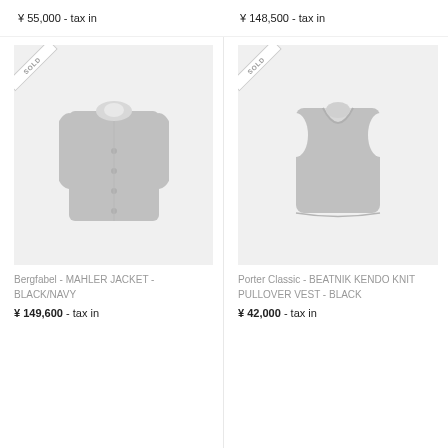¥ 55,000 - tax in
¥ 148,500 - tax in
[Figure (photo): Bergfabel MAHLER JACKET in BLACK/NAVY, shown as a grey garment silhouette on light background, with SOLD ribbon badge in top-left corner]
[Figure (photo): Porter Classic BEATNIK KENDO KNIT PULLOVER VEST in BLACK, shown as a grey vest silhouette on light background, with SOLD ribbon badge in top-left corner]
Bergfabel - MAHLER JACKET - BLACK/NAVY
¥ 149,600 - tax in
Porter Classic - BEATNIK KENDO KNIT PULLOVER VEST - BLACK
¥ 42,000 - tax in